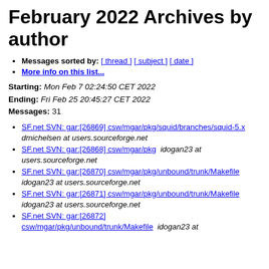February 2022 Archives by author
Messages sorted by: [ thread ] [ subject ] [ date ]
More info on this list...
Starting: Mon Feb 7 02:24:50 CET 2022
Ending: Fri Feb 25 20:45:27 CET 2022
Messages: 31
SF.net SVN: gar:[26869] csw/mgar/pkg/squid/branches/squid-5.x   dmichelsen at users.sourceforge.net
SF.net SVN: gar:[26868] csw/mgar/pkg   idogan23 at users.sourceforge.net
SF.net SVN: gar:[26870] csw/mgar/pkg/unbound/trunk/Makefile   idogan23 at users.sourceforge.net
SF.net SVN: gar:[26871] csw/mgar/pkg/unbound/trunk/Makefile   idogan23 at users.sourceforge.net
SF.net SVN: gar:[26872] csw/mgar/pkg/unbound/trunk/Makefile   idogan23 at users.sourceforge.net